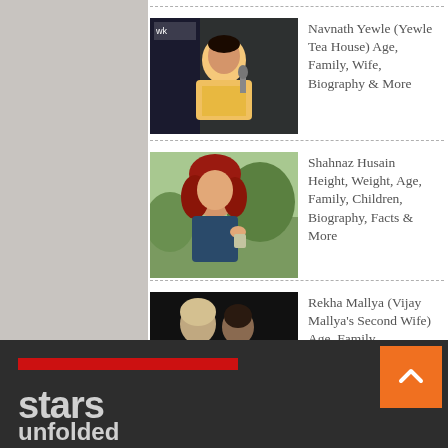Navnath Yewle (Yewle Tea House) Age, Family, Wife, Biography & More
Shahnaz Husain Height, Weight, Age, Family, Children, Biography, Facts & More
Rekha Mallya (Vijay Mallya's Second Wife) Age, Family, Biography & More
stars unfolded